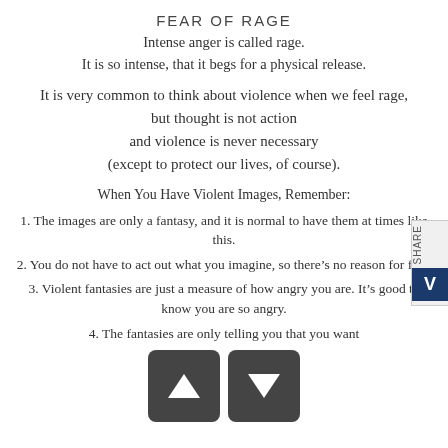FEAR OF RAGE
Intense anger is called rage.
It is so intense, that it begs for a physical release.
It is very common to think about violence when we feel rage,
but thought is not action
and violence is never necessary
(except to protect our lives, of course).
When You Have Violent Images, Remember:
1. The images are only a fantasy, and it is normal to have them at times like this.
2. You do not have to act out what you imagine, so there’s no reason for fear.
3. Violent fantasies are just a measure of how angry you are. It’s good to know you are so angry.
4. The fantasies are only telling you that you want